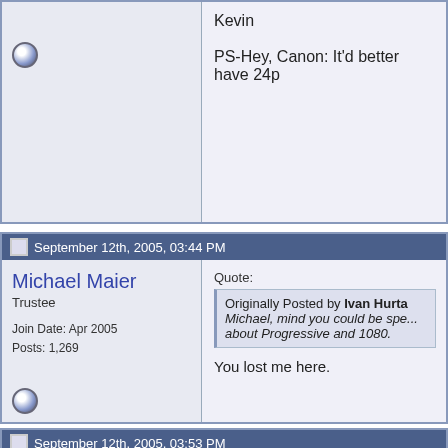Kevin

PS-Hey, Canon: It'd better have 24p
September 12th, 2005, 03:44 PM
Michael Maier
Trustee
Join Date: Apr 2005
Posts: 1,269
Quote:
Originally Posted by Ivan Hurta
Michael, mind you could be spe... about Progressive and 1080.

You lost me here.
September 12th, 2005, 03:53 PM
John DeLuca
Major Player
Join Date: May 2003
Location: Akron, Ohio
Posts: 496
Quote:
Originally Posted by Michael M...
How about "unlimited" quality g... industry?
How about the possibility of usin... through sections and sections o...
How about a shoulder form fact... bulky HVX, which seems to be ...